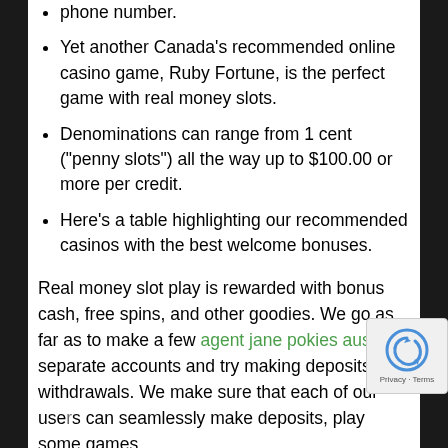phone number.
Yet another Canada’s recommended online casino game, Ruby Fortune, is the perfect game with real money slots.
Denominations can range from 1 cent (“penny slots”) all the way up to $100.00 or more per credit.
Here’s a table highlighting our recommended casinos with the best welcome bonuses.
Real money slot play is rewarded with bonus cash, free spins, and other goodies. We go as far as to make a few agent jane pokies australia separate accounts and try making deposits and withdrawals. We make sure that each of our users can seamlessly make deposits, play some games,